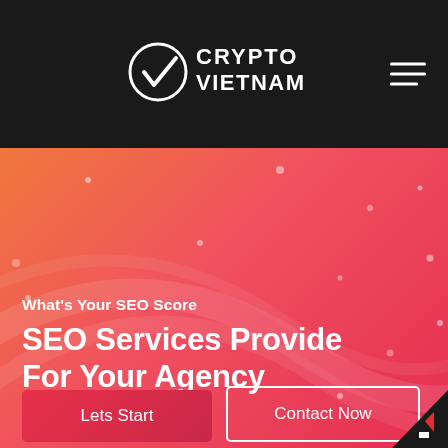[Figure (logo): Crypto Vietnam logo: white circle with checkmark and text CRYPTO VIETNAM on dark background]
[Figure (illustration): Orange to red gradient hero banner with decorative swirl lines and scattered dots]
What's Your SEO Score
SEO Services Provide For Your Agency
Lets Start
Contact Now